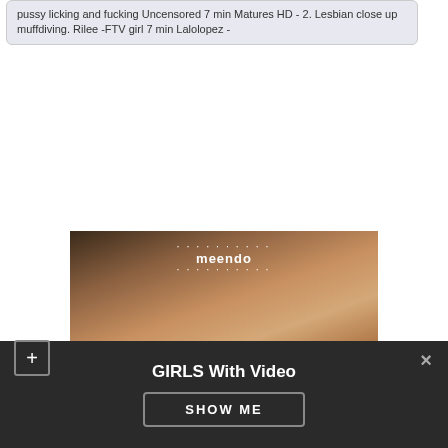pussy licking and fucking Uncensored 7 min Matures HD - 2. Lesbian close up muffdiving. Rilee -FTV girl 7 min Lalolopez -
[Figure (photo): Partially visible photograph of a person with meendo watermark overlay]
GIRLS With Video
SHOW ME